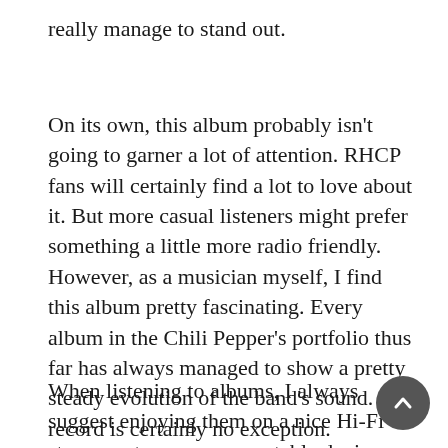really manage to stand out.
On its own, this album probably isn't going to garner a lot of attention. RHCP fans will certainly find a lot to love about it. But more casual listeners might prefer something a little more radio friendly. However, as a musician myself, I find this album pretty fascinating. Every album in the Chili Pepper's portfolio thus far has always managed to show a pretty steady evolution of the band's sound. This record is certainly no exception.
When listening to albums, I always suggest enjoying them on a nice Hi-Fi stereo system, or on a portable device with a good pair of headphones. When listening